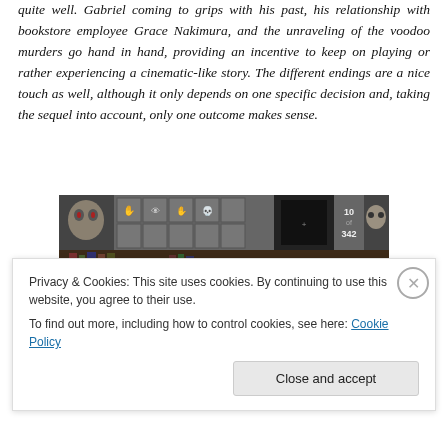quite well. Gabriel coming to grips with his past, his relationship with bookstore employee Grace Nakimura, and the unraveling of the voodoo murders go hand in hand, providing an incentive to keep on playing or rather experiencing a cinematic-like story. The different endings are a nice touch as well, although it only depends on one specific decision and, taking the sequel into account, only one outcome makes sense.
[Figure (screenshot): Screenshot of a video game interface showing a dark gothic game UI with inventory icons, character portraits, and a dark atmospheric scene with bookshelves in the background.]
Privacy & Cookies: This site uses cookies. By continuing to use this website, you agree to their use. To find out more, including how to control cookies, see here: Cookie Policy